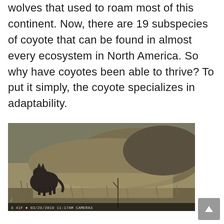wolves that used to roam most of this continent. Now, there are 19 subspecies of coyote that can be found in almost every ecosystem in North America. So why have coyotes been able to thrive? To put it simply, the coyote specializes in adaptability.
[Figure (photo): Trail camera photo of a coyote in a field with dry grass and brush. Timestamp reads: 8 41F 03/28/2019 11:17AM CAMERA3]